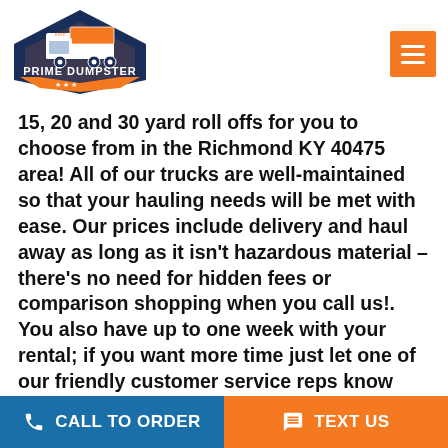[Figure (logo): Prime Dumpster company logo with truck illustration and hexagonal badge design in navy blue and orange]
15, 20 and 30 yard roll offs for you to choose from in the Richmond KY 40475 area! All of our trucks are well-maintained so that your hauling needs will be met with ease. Our prices include delivery and haul away as long as it isn't hazardous material – there's no need for hidden fees or comparison shopping when you call us!. You also have up to one week with your rental; if you want more time just let one of our friendly customer service reps know before they schedule delivery!
A dumpster rental can be a great solution for your
CALL TO ORDER    TEXT US